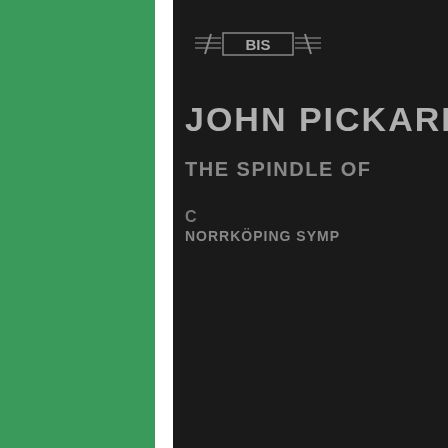[Figure (photo): Green sidebar background on left side of page]
[Figure (photo): Album cover for John Pickard 'The Spindle Of' on BIS Records, dark background with BIS logo, artist name JOHN PICKARD, title THE SPINDLE OF, and NORRKÖPING SYMP orchestra]
infolinks
[Figure (photo): Victoria's Secret advertisement banner with model, VS logo, VICTORIA'S SECRET text, SHOP THE COLLECTION tagline, and SHOP NOW button]